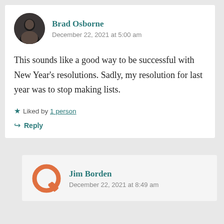Brad Osborne
December 22, 2021 at 5:00 am
This sounds like a good way to be successful with New Year’s resolutions. Sadly, my resolution for last year was to stop making lists.
Liked by 1 person
Reply
Jim Borden
December 22, 2021 at 8:49 am